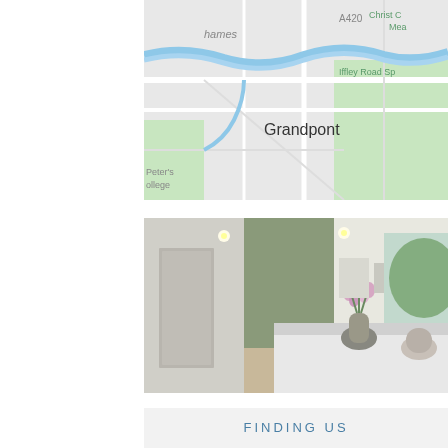[Figure (map): Google Maps view showing Grandpont area of Oxford, with roads, green spaces, River Thames, A420, Iffley Road Sp, Christ Church Meadow, and Peter's College labels visible]
[Figure (photo): Interior photo of a modern medical clinic reception/waiting area with white walls, green accent wall, orchid flowers in a vase on the reception desk, recessed lighting, and seating area visible]
FINDING US
Stratum Clinics Oxford